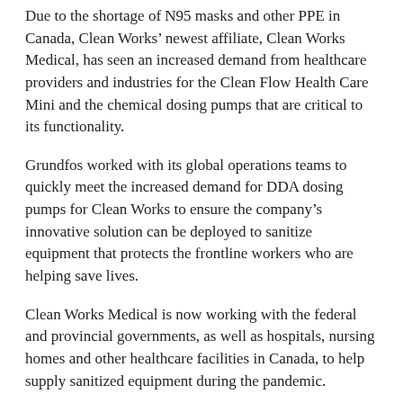Due to the shortage of N95 masks and other PPE in Canada, Clean Works' newest affiliate, Clean Works Medical, has seen an increased demand from healthcare providers and industries for the Clean Flow Health Care Mini and the chemical dosing pumps that are critical to its functionality.
Grundfos worked with its global operations teams to quickly meet the increased demand for DDA dosing pumps for Clean Works to ensure the company's innovative solution can be deployed to sanitize equipment that protects the frontline workers who are helping save lives.
Clean Works Medical is now working with the federal and provincial governments, as well as hospitals, nursing homes and other healthcare facilities in Canada, to help supply sanitized equipment during the pandemic.
“The key was to quickly provide a PPE solution to our frontline healthcare providers during this crisis, and Grundfos was an integral part of that,” said Mark VanderVeen, president and CEO of Clean Works.